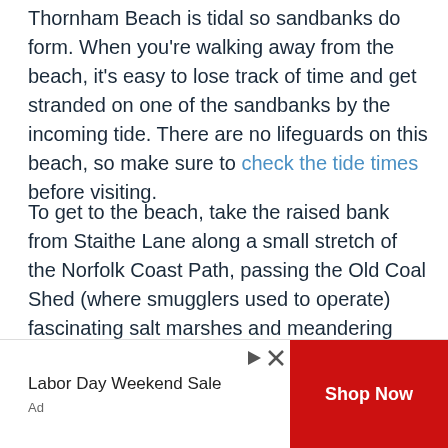Thornham Beach is tidal so sandbanks do form. When you're walking away from the beach, it's easy to lose track of time and get stranded on one of the sandbanks by the incoming tide. There are no lifeguards on this beach, so make sure to check the tide times before visiting.
To get to the beach, take the raised bank from Staithe Lane along a small stretch of the Norfolk Coast Path, passing the Old Coal Shed (where smugglers used to operate) fascinating salt marshes and meandering creeks.
Keep going until you get to the wooden board walk, and you'll see Broad Water pond on your left and a clear path to your right, which takes you through the huge expanse of...
[Figure (other): Advertisement banner: Labor Day Weekend Sale with Shop Now button]